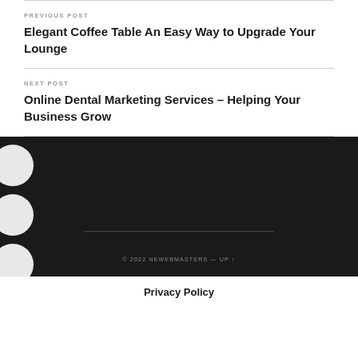PREVIOUS POST
Elegant Coffee Table An Easy Way to Upgrade Your Lounge
NEXT POST
Online Dental Marketing Services – Helping Your Business Grow
© 2022 NEWEBMASTERS — UP ↑
Privacy Policy